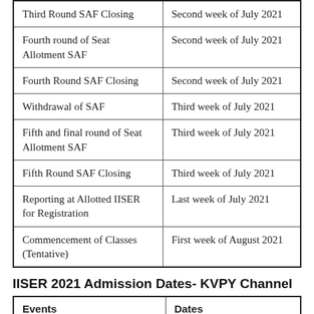| Event | Date |
| --- | --- |
| Third Round SAF Closing | Second week of July 2021 |
| Fourth round of Seat Allotment SAF | Second week of July 2021 |
| Fourth Round SAF Closing | Second week of July 2021 |
| Withdrawal of SAF | Third week of July 2021 |
| Fifth and final round of Seat Allotment SAF | Third week of July 2021 |
| Fifth Round SAF Closing | Third week of July 2021 |
| Reporting at Allotted IISER for Registration | Last week of July 2021 |
| Commencement of Classes (Tentative) | First week of August 2021 |
IISER 2021 Admission Dates- KVPY Channel
| Events | Dates |
| --- | --- |